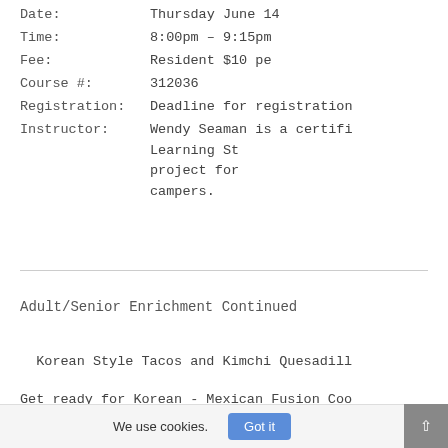Date:         Thursday June 14
Time:         8:00pm – 9:15pm
Fee:          Resident $10 pe
Course #:     312036
Registration: Deadline for registration
Instructor:   Wendy Seaman is a certifi
              Learning St
              project for
              campers.
Adult/Senior Enrichment Continued
Korean Style Tacos and Kimchi Quesadill
Get ready for Korean - Mexican Fusion Coo
...
We use cookies.